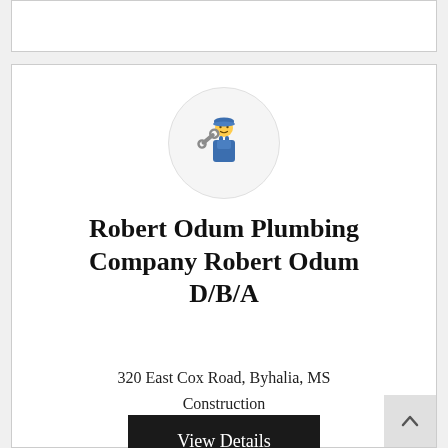[Figure (illustration): Plumber/worker emoji icon inside a light gray circle — figure wearing blue cap and blue overalls, holding a wrench]
Robert Odum Plumbing Company Robert Odum D/B/A
320 East Cox Road, Byhalia, MS
Construction
View Details